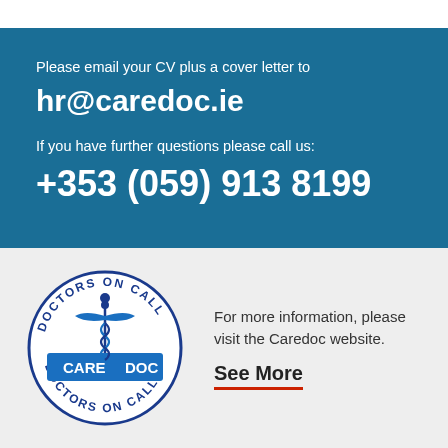Please email your CV plus a cover letter to
hr@caredoc.ie
If you have further questions please call us:
+353 (059) 913 8199
[Figure (logo): Caredoc Doctors On Call circular logo with caduceus symbol and blue CARE DOC banner]
For more information, please visit the Caredoc website.
See More